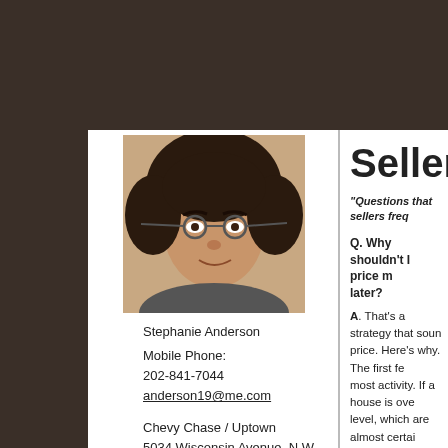[Figure (photo): Headshot photo of Stephanie Anderson, a woman with short dark hair and glasses, smiling]
Stephanie Anderson
Mobile Phone:
202-841-7044
anderson19@me.com
Chevy Chase / Uptown
5034 Wisconsin Avenue, N.W.
Washington, DC 20016
Main Office:
(202) 326-1300
Seller FAQs
"Questions that sellers freq...
Q.  Why shouldn't I price my... later?
A. That's a strategy that soun... price. Here's why. The first fe... most activity. If a house is ove... level, which are almost certai...
So the overpriced home is un... when real estate agents previ... show it to their buyers. Evento... with an even lower price beca... market so long and may facto...
Q. What is meant by the tern...
A. Sales contracts typically co... sale is subject to. For example... obtain financing within the sp... required to complete the purc... section are termite and other...